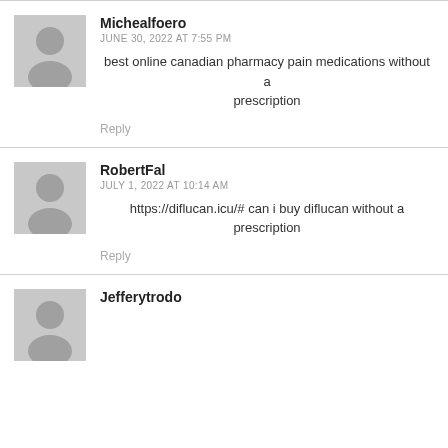Michealfoero
JUNE 30, 2022 AT 7:55 PM
best online canadian pharmacy pain medications without a prescription
Reply
RobertFal
JULY 1, 2022 AT 10:14 AM
https://diflucan.icu/# can i buy diflucan without a prescription
Reply
Jefferytrodo